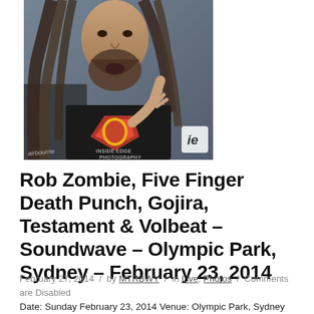[Figure (photo): A man with long dreadlocked hair and a beard performing on stage, wearing a Superman-style ripped t-shirt. Watermark reads 'Inside Edge Photography' with 'ie' logo in bottom right. 'Airbourne' text visible bottom left.]
Rob Zombie, Five Finger Death Punch, Gojira, Testament & Volbeat – Soundwave – Olympic Park, Sydney – February 23, 2014
February 27, 2014 / by MTRBWY / in Live, Photos / Comments are Disabled
Date: Sunday February 23, 2014 Venue: Olympic Park, Sydney Photographer: